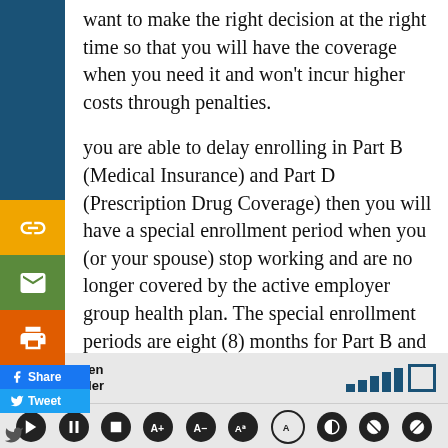want to make the right decision at the right time so that you will have the coverage when you need it and won't incur higher costs through penalties.
you are able to delay enrolling in Part B (Medical Insurance) and Part D (Prescription Drug Coverage) then you will have a special enrollment period when you (or your spouse) stop working and are no longer covered by the active employer group health plan. The special enrollment periods are eight (8) months for Part B and 63 days for Part D. Best to start investigating your options about 6 months before you plan to retire.
[Figure (screenshot): Social media sharing sidebar with link, email, print buttons, and Facebook Share / Twitter Tweet buttons]
[Figure (screenshot): Screen reader accessibility toolbar at bottom with audio control buttons]